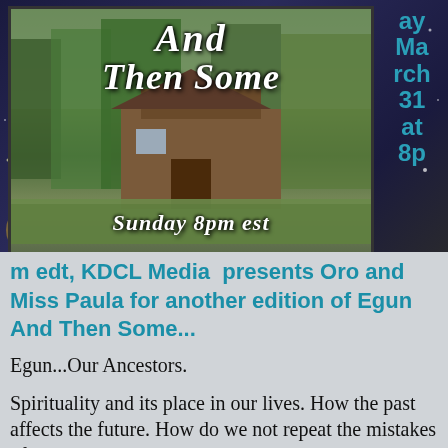[Figure (illustration): Promotional image for 'And Then Some' show featuring a log cabin in a rural wooded setting with stylized text overlay reading 'And Then Some Sunday 8pm est']
ay March 31 at 8p
m edt, KDCL Media presents Oro and Miss Paula for another edition of Egun And Then Some...
Egun...Our Ancestors.
Spirituality and its place in our lives. How the past affects the future. How do we not repeat the mistakes of the past or are we